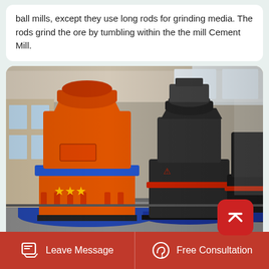ball mills, except they use long rods for grinding media. The rods grind the ore by tumbling within the the mill Cement Mill.
[Figure (photo): Industrial grinding mills in a factory hall. Foreground shows a large orange vertical mill with blue band and mounting hardware. Background shows multiple dark grey/black mills with red accent bands on a factory floor with industrial windows.]